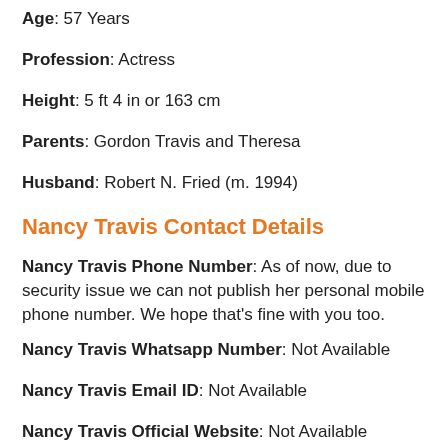Age: 57 Years
Profession: Actress
Height: 5 ft 4 in or 163 cm
Parents: Gordon Travis and Theresa
Husband: Robert N. Fried (m. 1994)
Nancy Travis Contact Details
Nancy Travis Phone Number: As of now, due to security issue we can not publish her personal mobile phone number. We hope that's fine with you too.
Nancy Travis Whatsapp Number: Not Available
Nancy Travis Email ID: Not Available
Nancy Travis Official Website: Not Available
Telephone Number: Not Available
Fax Number: Not Available